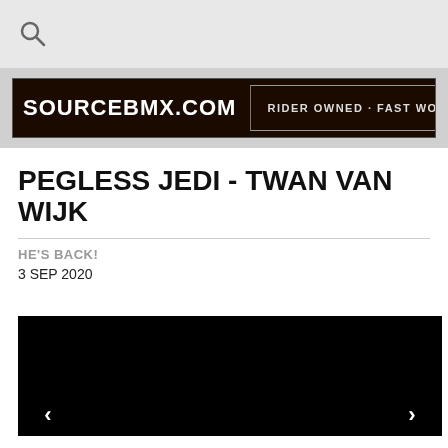[Figure (logo): SourceBMX.com banner logo with text 'SOURCEBMX.COM RIDER OWNED · FAST WORLDWIDE DELIVERY' on dark brown/black background]
PEGLESS JEDI - TWAN VAN WIJK
HE'S BACK!
3 SEP 2020
[Figure (screenshot): Black video player area with left and right navigation arrows]